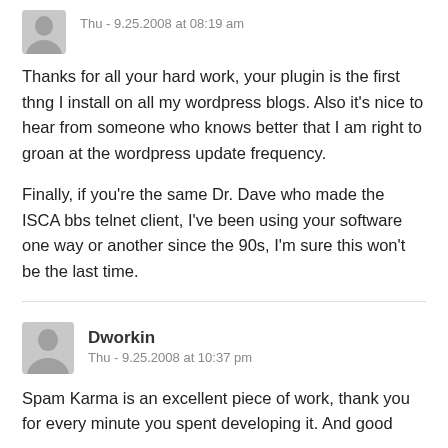[Figure (illustration): Gray placeholder avatar icon (person silhouette) for anonymous commenter]
Thu - 9.25.2008 at 08:19 am
Thanks for all your hard work, your plugin is the first thng I install on all my wordpress blogs. Also it's nice to hear from someone who knows better that I am right to groan at the wordpress update frequency.
Finally, if you're the same Dr. Dave who made the ISCA bbs telnet client, I've been using your software one way or another since the 90s, I'm sure this won't be the last time.
[Figure (illustration): Gray placeholder avatar icon (person silhouette) for Dworkin commenter]
Dworkin
Thu - 9.25.2008 at 10:37 pm
Spam Karma is an excellent piece of work, thank you for every minute you spent developing it. And good